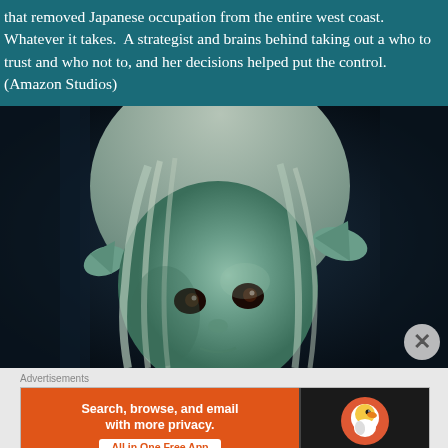that removed Japanese occupation from the entire west coast. Whatever it takes.  A strategist and brains behind taking out a who to trust and who not to, and her decisions helped put the control. (Amazon Studios)
[Figure (photo): Close-up of a CGI fantasy creature with pale green skin, pointed elf-like ears, white hair, and dark eyes against a dark blue background.]
Advertisements
[Figure (screenshot): DuckDuckGo advertisement banner: orange left side with text 'Search, browse, and email with more privacy. All in One Free App', dark right side with DuckDuckGo duck logo and brand name.]